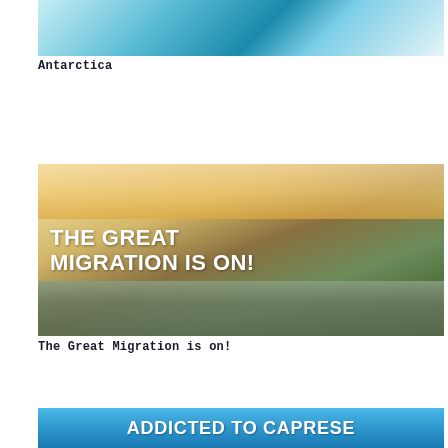[Figure (photo): Partial view of Antarctica iceberg and ocean with turquoise and white ice and water]
Antarctica
[Figure (photo): Photo of the Great Migration with wildebeest crossing a river on the savanna, with bold white text overlay reading 'THE GREAT MIGRATION IS ON!']
The Great Migration is on!
[Figure (photo): Partial view of blue sky background with bold white text beginning 'ADDICTED TO CAPRESE']